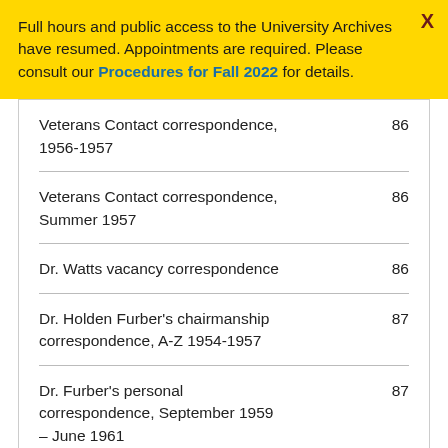Full hours and public access to the University Archives have resumed. Appointments are required. Please consult our Procedures for Fall 2022 for details.
| Item | Page |
| --- | --- |
| Veterans Contact correspondence, 1956-1957 | 86 |
| Veterans Contact correspondence, Summer 1957 | 86 |
| Dr. Watts vacancy correspondence | 86 |
| Dr. Holden Furber's chairmanship correspondence, A-Z 1954-1957 | 87 |
| Dr. Furber's personal correspondence, September 1959 – June 1961 | 87 |
| Dr. Cochran's correspondence as | 87 |